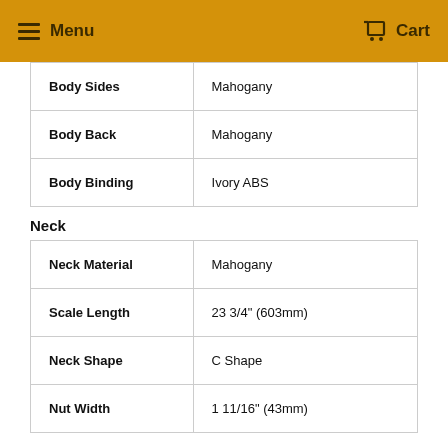Menu  Cart
| Body Sides | Mahogany |
| Body Back | Mahogany |
| Body Binding | Ivory ABS |
Neck
| Neck Material | Mahogany |
| Scale Length | 23 3/4" (603mm) |
| Neck Shape | C Shape |
| Nut Width | 1 11/16" (43mm) |